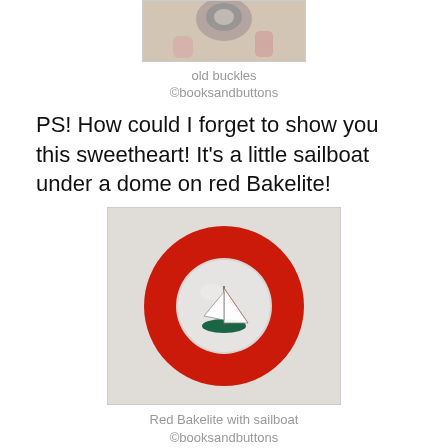[Figure (photo): Partial top portion of an image showing old buckles with floral background]
old buckles
©booksandbuttons
PS! How could I forget to show you this sweetheart!  It's a little sailboat under a dome on red Bakelite!
[Figure (photo): Red Bakelite button with a dome containing a small sailboat figurine, on light grey background]
Red Bakelite with sailboat
©booksandbuttons